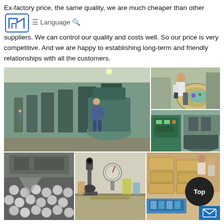Ex-factory price, the same quality, we are much cheaper than other suppliers. We can control our quality and costs well. So our price is very competitive. And we are happy to establishing long-term and friendly relationships with all the customers.
[Figure (photo): Manufacturing facility photos: large factory floor with workers operating machinery, worker handling materials, worker at control panel, close-up of metal balls/bearings, laboratory/testing equipment, workers sorting products in warehouse]